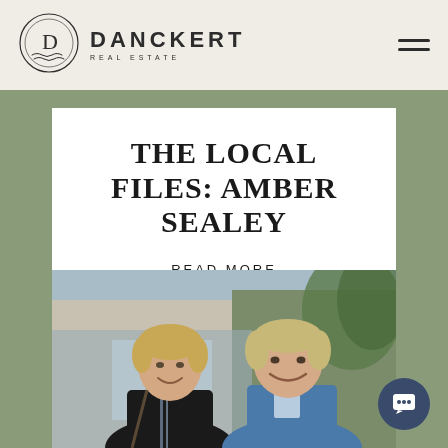[Figure (logo): Danckert Real Estate logo — circular emblem with letter D and wave motif, beside the text DANCKERT REAL ESTATE]
THE LOCAL FILES: AMBER SEALEY
READ MORE
[Figure (photo): Photograph of two smiling older adults (a woman with short blonde hair in a dark jacket and a man with grey-blonde hair in a blue sweater) standing outdoors in front of a modern building with greenery]